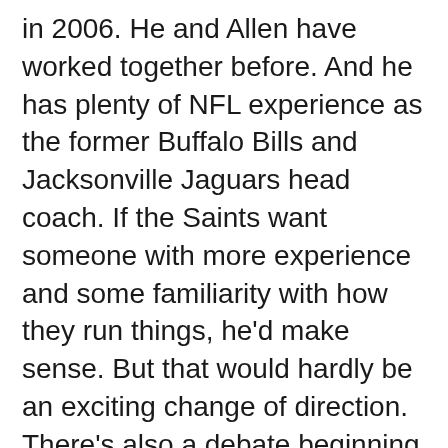in 2006. He and Allen have worked together before. And he has plenty of NFL experience as the former Buffalo Bills and Jacksonville Jaguars head coach. If the Saints want someone with more experience and some familiarity with how they run things, he'd make sense. But that would hardly be an exciting change of direction. There's also a debate beginning about who should step in for Allen as defensive coordinator. While they likely won't have the same autonomy in that role Allen enjoyed under Sean Payton, it's still a job with more responsibilities and greater visibility, and a plausible path towards becoming a head